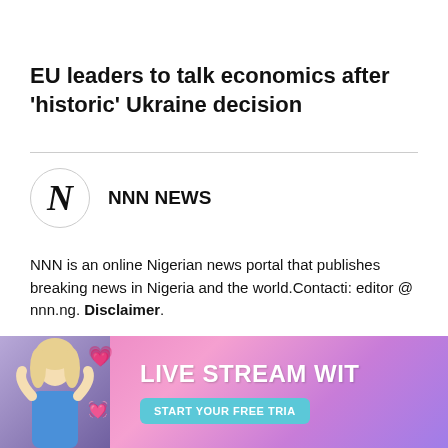EU leaders to talk economics after ‘historic’ Ukraine decision
NNN NEWS
NNN is an online Nigerian news portal that publishes breaking news in Nigeria and the world.Contacti: editor @ nnn.ng. Disclaimer.
[Figure (infographic): Social media share icons: WhatsApp (green), Facebook (dark blue), Twitter (light blue), LinkedIn (blue), Telegram (blue), Pinterest (red), Reddit (orange-red), Email (dark red)]
[Figure (photo): Advertisement banner with pink/purple gradient background, a blonde woman in blue top, heart emojis, and text reading LIVE STREAM WIT... with a button START YOUR FREE TRIA...]